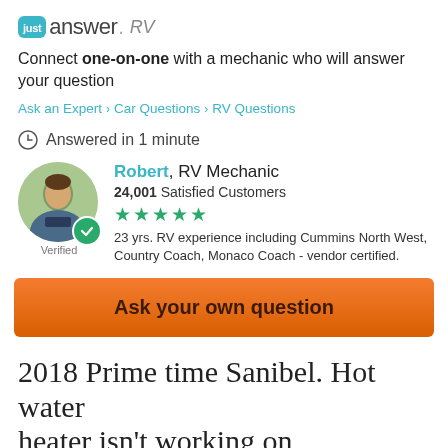[Figure (logo): JustAnswer RV logo with teal badge and italic RV text]
Connect one-on-one with a mechanic who will answer your question
Ask an Expert > Car Questions > RV Questions
Answered in 1 minute
[Figure (photo): Circular avatar photo of Robert, RV Mechanic, with green verified badge]
Robert, RV Mechanic
24,001 Satisfied Customers
★★★★★
23 yrs. RV experience including Cummins North West, Country Coach, Monaco Coach - vendor certified.
Ask your own question
2018 Prime time Sanibel. Hot water heater isn't working on